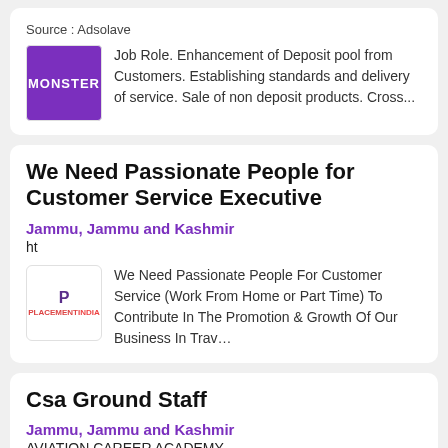Source : Adsolave
Job Role. Enhancement of Deposit pool from Customers. Establishing standards and delivery of service. Sale of non deposit products. Cross...
We Need Passionate People for Customer Service Executive
Jammu, Jammu and Kashmir
ht
We Need Passionate People For Customer Service (Work From Home or Part Time) To Contribute In The Promotion & Growth Of Our Business In Trav…
Csa Ground Staff
Jammu, Jammu and Kashmir
AVIATION CAREER ACADEMY
Job Description Urgent Vacancy is Going On For Airport job Interested candidates can apply for